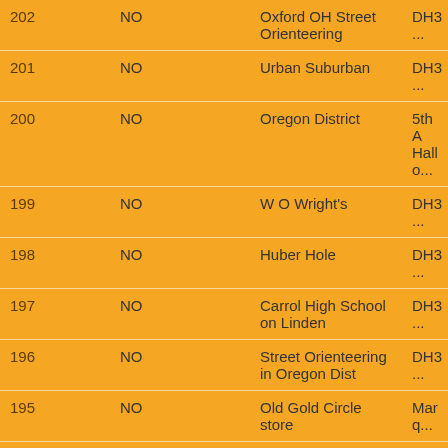| # | Col2 | Name | Code |
| --- | --- | --- | --- |
| 202 | NO | Oxford OH Street Orienteering | DH3 ... |
| 201 | NO | Urban Suburban | DH3 ... |
| 200 | NO | Oregon District | 5th A Hallo... |
| 199 | NO | W O Wright's | DH3 ... |
| 198 | NO | Huber Hole | DH3 ... |
| 197 | NO | Carrol High School on Linden | DH3 ... |
| 196 | NO | Street Orienteering in Oregon Dist | DH3 ... |
| 195 | NO | Old Gold Circle store | Marq... |
| 194 | NO | Heikes Ave Dayton | DH3 ... |
| 193 | NO | 4th Xmas in July at Lazershit's | DH3 ... |
| 192 | NO | Hunter Chase Apts | DH3 ... |